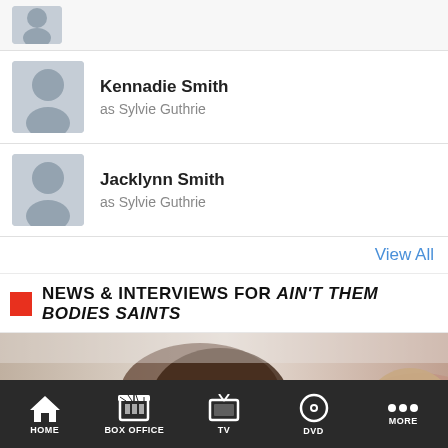Kennadie Smith as Sylvie Guthrie
Jacklynn Smith as Sylvie Guthrie
View All
NEWS & INTERVIEWS FOR AIN'T THEM BODIES SAINTS
[Figure (photo): A woman lying on a man, both appearing to be resting; promotional image for Ain't Them Bodies Saints]
50 Movies & TV Shows to Netflix and Chill with This Valentine's Day
HOME  BOX OFFICE  TV  DVD  MORE